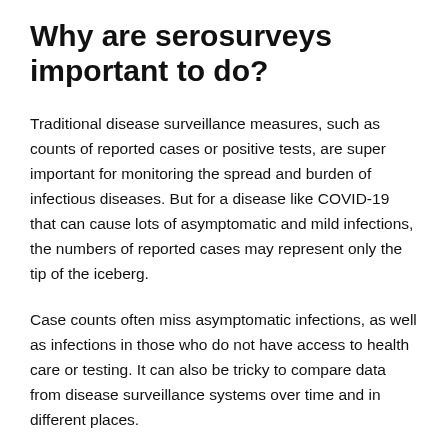Why are serosurveys important to do?
Traditional disease surveillance measures, such as counts of reported cases or positive tests, are super important for monitoring the spread and burden of infectious diseases. But for a disease like COVID-19 that can cause lots of asymptomatic and mild infections, the numbers of reported cases may represent only the tip of the iceberg.
Case counts often miss asymptomatic infections, as well as infections in those who do not have access to health care or testing. It can also be tricky to compare data from disease surveillance systems over time and in different places.
Serosurveys are a way of capturing asymptomatic and unreported infections, and a well-designed serosurvey can